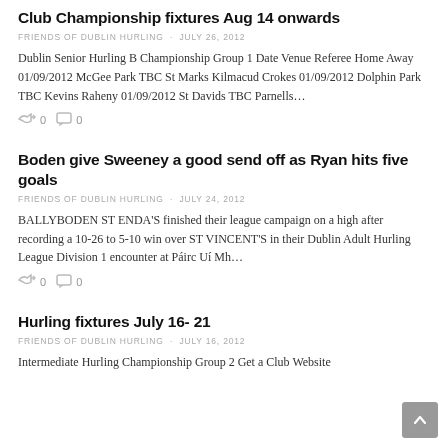Club Championship fixtures Aug 14 onwards
FRIENDS OF DUBLIN HURLING · JULY 26, 2012
Dublin Senior Hurling B Championship Group 1 Date Venue Referee Home Away 01/09/2012 McGee Park TBC St Marks Kilmacud Crokes 01/09/2012 Dolphin Park TBC Kevins Raheny 01/09/2012 St Davids TBC Parnells…
0  0
Boden give Sweeney a good send off as Ryan hits five goals
FRIENDS OF DUBLIN HURLING · JULY 24, 2012
BALLYBODEN ST ENDA'S finished their league campaign on a high after recording a 10-26 to 5-10 win over ST VINCENT'S in their Dublin Adult Hurling League Division 1 encounter at Páirc Uí Mh…
0  0
Hurling fixtures July 16- 21
FRIENDS OF DUBLIN HURLING · JULY 16, 2012
Intermediate Hurling Championship Group 2 Get a Club Website